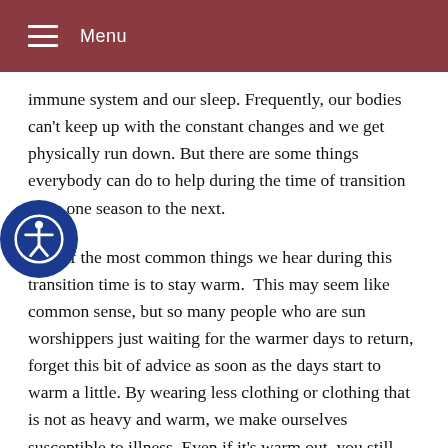Menu
immune system and our sleep. Frequently, our bodies can't keep up with the constant changes and we get physically run down. But there are some things everybody can do to help during the time of transition from one season to the next.
One of the most common things we hear during this transition time is to stay warm.  This may seem like common sense, but so many people who are sun worshippers just waiting for the warmer days to return, forget this bit of advice as soon as the days start to warm a little. By wearing less clothing or clothing that is not as heavy and warm, we make ourselves susceptible to illness. Even if it's warm out, you still need to dress appropriately. Save the shorts for a little later in the season.
Another way to stay healthy during the changing seasons is to make sure that you're getting enough sleep. This is another common sense statement, but with longer hours of daylight, many people's sleep cycles become disrupted. This can cause the immune system to